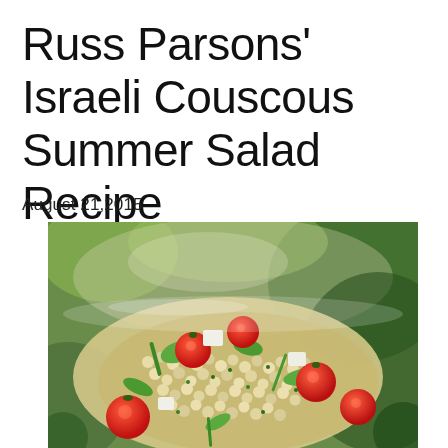Russ Parsons’ Israeli Couscous Summer Salad Recipe
August 21,2015
[Figure (photo): Close-up photo of Israeli couscous summer salad in a glass bowl, showing pearl couscous, cherry tomatoes, green vegetables, and herbs]